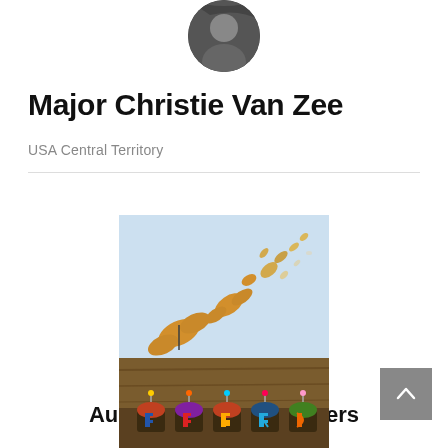[Figure (photo): Circular profile photo of Major Christie Van Zee, dark toned portrait]
Major Christie Van Zee
USA Central Territory
[Figure (photo): Photo of monarch butterflies flying against a light blue sky]
PREVIOUS POST
August 2022 – Hopelifters
[Figure (photo): Photo of birthday cupcakes with letter candles spelling BIRTHDAY on a wooden surface]